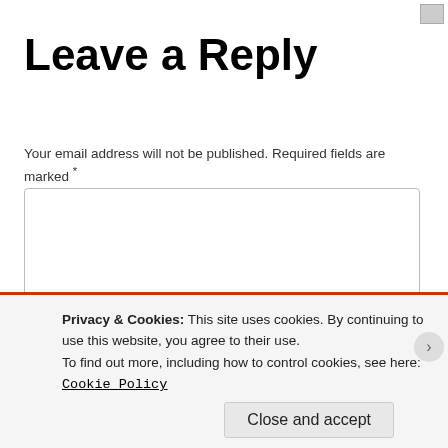Leave a Reply
Your email address will not be published. Required fields are marked *
Name *
Privacy & Cookies: This site uses cookies. By continuing to use this website, you agree to their use.
To find out more, including how to control cookies, see here: Cookie Policy
Close and accept